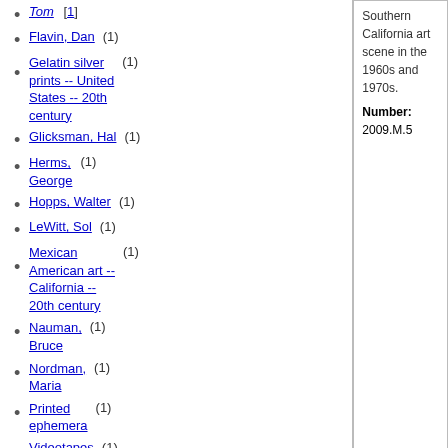Tom
Flavin, Dan (1)
Gelatin silver prints -- United States -- 20th century (1)
Glicksman, Hal (1)
Herms, George (1)
Hopps, Walter (1)
LeWitt, Sol (1)
Mexican American art -- California -- 20th century (1)
Nauman, Bruce (1)
Nordman, Maria (1)
Printed ephemera (1)
Videotapes (1)
Southern California art scene in the 1960s and 1970s.
Number: 2009.M.5
Research Library Overview | Research Home | Search Tools & Databases | Search the Library Catalog | Correction Form
The J. Paul Getty Trust © J. Paul Getty Trust